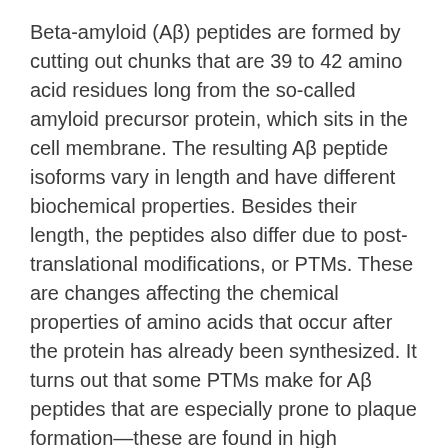Beta-amyloid (Aβ) peptides are formed by cutting out chunks that are 39 to 42 amino acid residues long from the so-called amyloid precursor protein, which sits in the cell membrane. The resulting Aβ peptide isoforms vary in length and have different biochemical properties. Besides their length, the peptides also differ due to post-translational modifications, or PTMs. These are changes affecting the chemical properties of amino acids that occur after the protein has already been synthesized. It turns out that some PTMs make for Aβ peptides that are especially prone to plaque formation—these are found in high concentrations in the senile plaques of AD patients.
Monitoring the diversity of Aβ peptides may help diagnose the disease more accurately and keep an eye on its progression. Mass spectrometry is the most